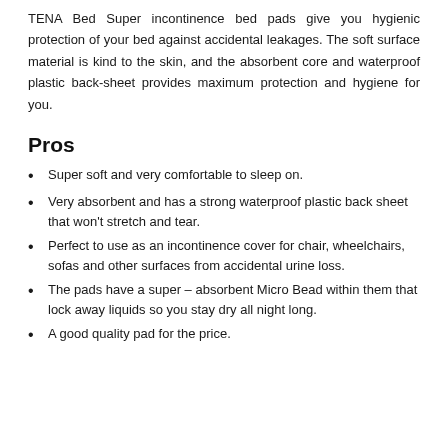TENA Bed Super incontinence bed pads give you hygienic protection of your bed against accidental leakages. The soft surface material is kind to the skin, and the absorbent core and waterproof plastic back-sheet provides maximum protection and hygiene for you.
Pros
Super soft and very comfortable to sleep on.
Very absorbent and has a strong waterproof plastic back sheet that won't stretch and tear.
Perfect to use as an incontinence cover for chair, wheelchairs, sofas and other surfaces from accidental urine loss.
The pads have a super – absorbent Micro Bead within them that lock away liquids so you stay dry all night long.
A good quality pad for the price.